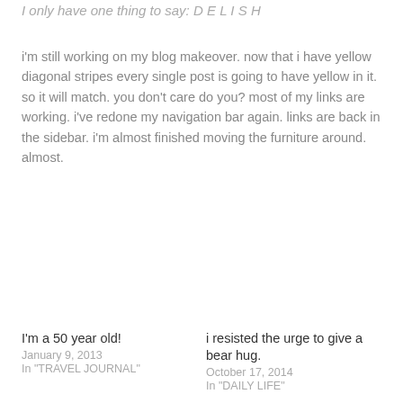I only have one thing to say:  D E L I S H
i'm still working on my blog makeover.  now that i have yellow diagonal stripes every single post is going to have yellow in it.  so it will match.  you don't care do you?  most of my links are working.  i've redone my navigation bar again.  links are back in the sidebar.  i'm almost finished moving the furniture around.  almost.
I'm a 50 year old!
January 9, 2013
In "TRAVEL JOURNAL"
i resisted the urge to give a bear hug.
October 17, 2014
In "DAILY LIFE"